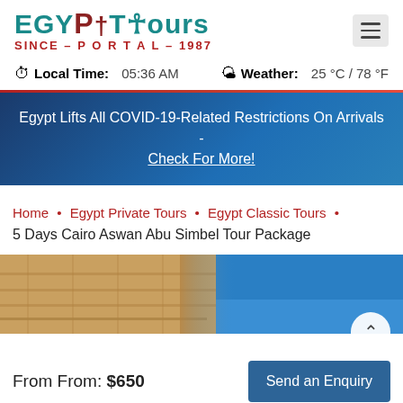[Figure (logo): Egypt Tours Portal logo with teal/red text, 'SINCE - PORTAL - 1987']
Local Time: 05:36 AM   Weather: 25 °C / 78 °F
Egypt Lifts All COVID-19-Related Restrictions On Arrivals - Check For More!
Home • Egypt Private Tours • Egypt Classic Tours • 5 Days Cairo Aswan Abu Simbel Tour Package
[Figure (photo): Photo of ancient Egyptian stone temple (Abu Simbel) with blue sky]
From From: $650
Send an Enquiry